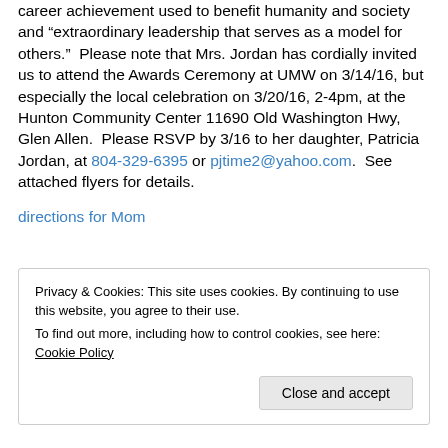career achievement used to benefit humanity and society and “extraordinary leadership that serves as a model for others.”  Please note that Mrs. Jordan has cordially invited us to attend the Awards Ceremony at UMW on 3/14/16, but especially the local celebration on 3/20/16, 2-4pm, at the Hunton Community Center 11690 Old Washington Hwy, Glen Allen.  Please RSVP by 3/16 to her daughter, Patricia Jordan, at 804-329-6395 or pjtime2@yahoo.com.  See attached flyers for details.
directions for Mom
Privacy & Cookies: This site uses cookies. By continuing to use this website, you agree to their use.
To find out more, including how to control cookies, see here: Cookie Policy